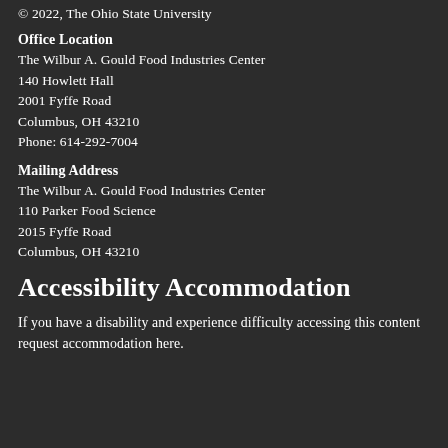© 2022, The Ohio State University
Office Location
The Wilbur A. Gould Food Industries Center
140 Howlett Hall
2001 Fyffe Road
Columbus, OH 43210
Phone: 614-292-7004
Mailing Address
The Wilbur A. Gould Food Industries Center
110 Parker Food Science
2015 Fyffe Road
Columbus, OH 43210
Accessibility Accommodation
If you have a disability and experience difficulty accessing this content request accommodation here.